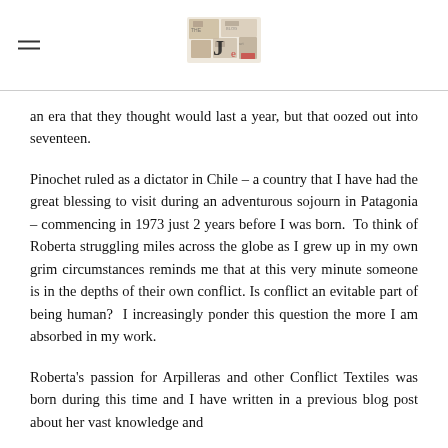[hamburger menu icon] [blog logo collage]
an era that they thought would last a year, but that oozed out into seventeen.
Pinochet ruled as a dictator in Chile – a country that I have had the great blessing to visit during an adventurous sojourn in Patagonia – commencing in 1973 just 2 years before I was born. To think of Roberta struggling miles across the globe as I grew up in my own grim circumstances reminds me that at this very minute someone is in the depths of their own conflict. Is conflict an evitable part of being human? I increasingly ponder this question the more I am absorbed in my work.
Roberta's passion for Arpilleras and other Conflict Textiles was born during this time and I have written in a previous blog post about her vast knowledge and